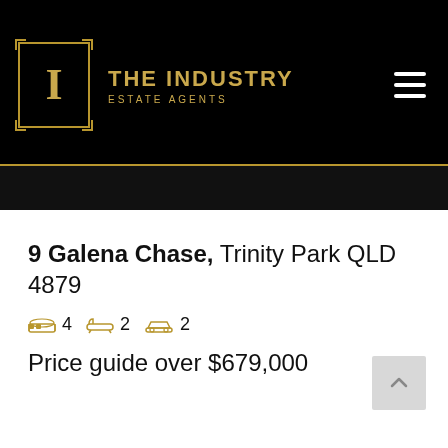THE INDUSTRY ESTATE AGENTS
9 Galena Chase, Trinity Park QLD 4879
4 bedrooms, 2 bathrooms, 2 car garage
Price guide over $679,000